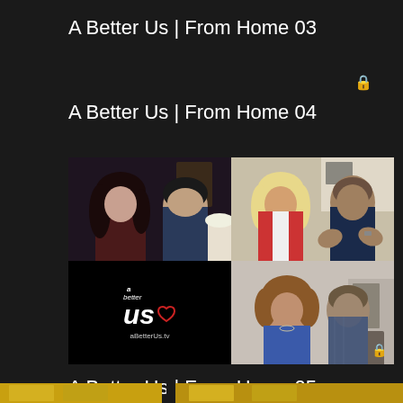A Better Us | From Home 03
A Better Us | From Home 04
[Figure (photo): Video call thumbnail grid showing four couples in split-screen. Top-left: dark-haired woman and man in blue shirt. Top-right: blonde woman in red jacket and man in dark shirt gesturing. Bottom-left: A Better Us logo with heart and aBetterUs.tv text. Bottom-right: woman with curly hair in blue top and older man in patterned shirt. Lock icon in bottom-right corner.]
A Better Us | From Home 05
[Figure (photo): Bottom strip showing partial video thumbnails in warm golden/amber tones]